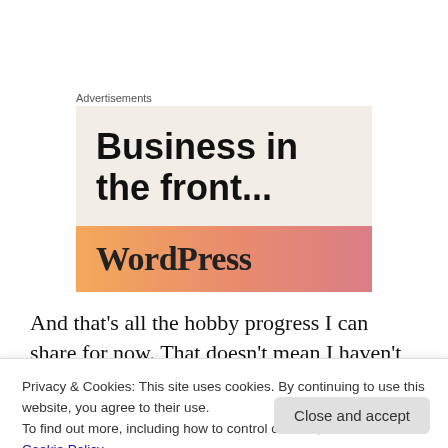Advertisements
[Figure (illustration): Advertisement banner with text 'Business in the front...' on a beige/cream background, and a gradient orange-to-pink bar at the bottom with 'WordPress' text.]
And that’s all the hobby progress I can share for now. That doesn’t mean I haven’t been busy. I’ve
Privacy & Cookies: This site uses cookies. By continuing to use this website, you agree to their use.
To find out more, including how to control cookies, see here:
Cookie Policy
required so I could start planning that out too.